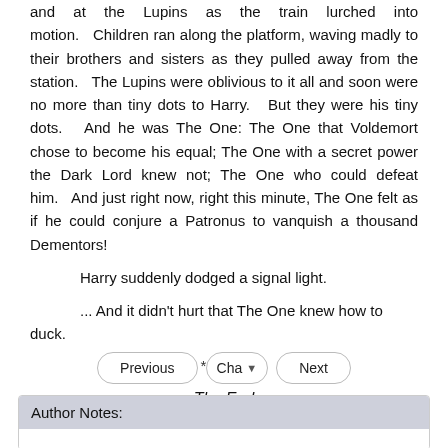and at the Lupins as the train lurched into motion.   Children ran along the platform, waving madly to their brothers and sisters as they pulled away from the station.   The Lupins were oblivious to it all and soon were no more than tiny dots to Harry.   But they were his tiny dots.   And he was The One: The One that Voldemort chose to become his equal; The One with a secret power the Dark Lord knew not; The One who could defeat him.   And just right now, right this minute, The One felt as if he could conjure a Patronus to vanquish a thousand Dementors!
Harry suddenly dodged a signal light.
... And it didn't hurt that The One knew how to duck.
******
— The End —
[Figure (screenshot): Navigation buttons: Previous, Cha (dropdown), Next]
Author Notes: